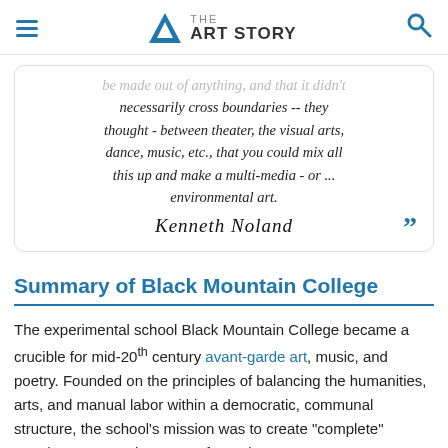THE ART STORY
be made out of anything, and that it didn't necessarily cross boundaries -- they thought - between theater, the visual arts, dance, music, etc., that you could mix all this up and make a multi-media - or ... environmental art. [signature: Kenneth Noland]
Summary of Black Mountain College
The experimental school Black Mountain College became a crucible for mid-20th century avant-garde art, music, and poetry. Founded on the principles of balancing the humanities, arts, and manual labor within a democratic, communal structure, the school's mission was to create "complete" people. It attracted a range of prominent